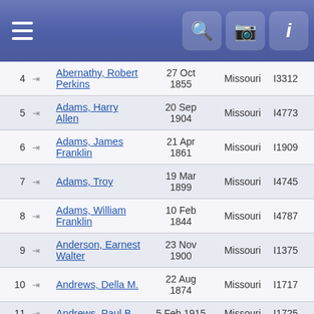Navigation header with menu, search, camera, and info icons
| # |  | Name | Date | State | ID |
| --- | --- | --- | --- | --- | --- |
| 4 |  | Abernathy, Robert Perkins | 27 Oct 1855 | Missouri | I3312 |
| 5 |  | Adams, Harry Allen | 20 Sep 1904 | Missouri | I4773 |
| 6 |  | Adams, James Franklin | 21 Apr 1861 | Missouri | I1909 |
| 7 |  | Adams, Troy | 19 Mar 1899 | Missouri | I4745 |
| 8 |  | Adams, William Franklin | 10 Feb 1844 | Missouri | I4787 |
| 9 |  | Anderson, Earnest Walter | 23 Nov 1900 | Missouri | I1375 |
| 10 |  | Andrews, Della M. | 22 Aug 1874 | Missouri | I1717 |
| 11 |  | Andrews, Paul B. | 5 Feb 1915 | Missouri | I1725 |
| 12 |  | Appleby, Fred L. | 28 Nov 1872 | Missouri | I1400 |
| 13 |  | Appleby, John Bell | 1 Apr 1847 | Missouri | I3346 |
| 14 |  | Appleby, John Carson | 1844 | Missouri | I3599 |
| 15 |  | Appleby, Patty Lou | 11 Jul 1932 | Missouri | I3640 |
| 16 |  | Appleby, ... | 17 Aug | Missouri | I3351 |